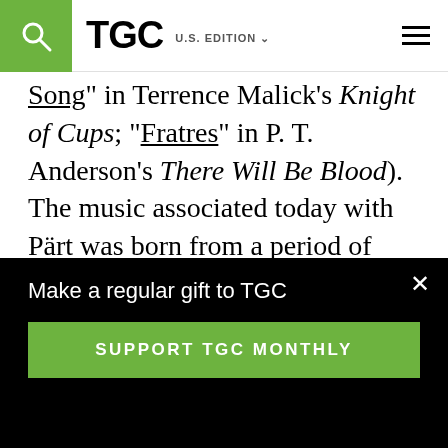TGC U.S. EDITION
Song” in Terrence Malick’s Knight of Cups; “Fratres” in P. T. Anderson’s There Will Be Blood). The music associated today with Pärt was born from a period of artistic silence in the 1960s when he turned away from the atonal cacophony of mainstream art music to embrace early church music and minimalism. Pärt states, “You can kill people with sound, and if you can kill, then . . . maybe there is
Make a regular gift to TGC
SUPPORT TGC MONTHLY